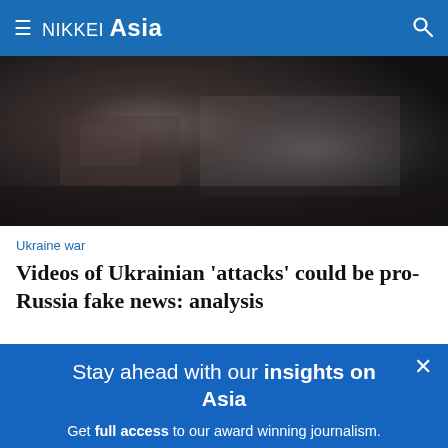≡ NIKKEI Asia 🔍
[Figure (photo): Dark, moody photograph showing a wartime scene — blurred dark tones with grey and brown hues suggesting a conflict/war environment.]
Ukraine war
Videos of Ukrainian 'attacks' could be pro-Russia fake news: analysis
Stay ahead with our insights on Asia
Get full access to our award winning journalism.
Subscribe now